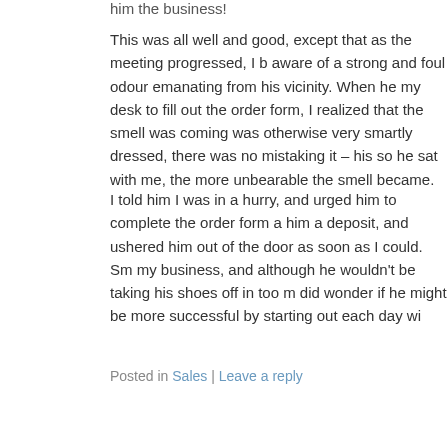him the business!
This was all well and good, except that as the meeting progressed, I b aware of a strong and foul odour emanating from his vicinity. When he my desk to fill out the order form, I realized that the smell was coming was otherwise very smartly dressed, there was no mistaking it – his so he sat with me, the more unbearable the smell became.
I told him I was in a hurry, and urged him to complete the order form a him a deposit, and ushered him out of the door as soon as I could. Sm my business, and although he wouldn’t be taking his shoes off in too m did wonder if he might be more successful by starting out each day wi
Posted in Sales | Leave a reply